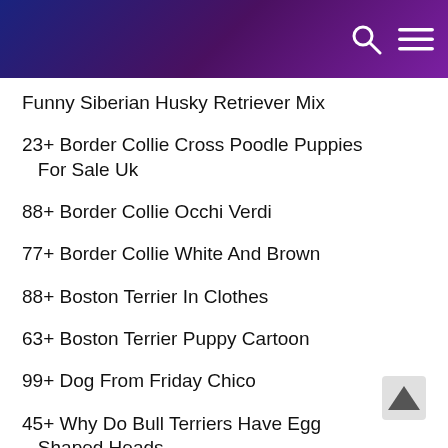Funny Siberian Husky Retriever Mix
23+ Border Collie Cross Poodle Puppies For Sale Uk
88+ Border Collie Occhi Verdi
77+ Border Collie White And Brown
88+ Boston Terrier In Clothes
63+ Boston Terrier Puppy Cartoon
99+ Dog From Friday Chico
45+ Why Do Bull Terriers Have Egg Shaped Heads
99+ English Bulldog Height
88+ English Bulldog Personality
77+ Blue King Corso
77+ Cane Corso Roman Empire